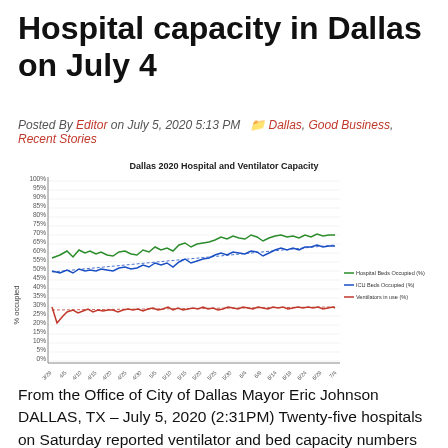Hospital capacity in Dallas on July 4
Posted By Editor on July 5, 2020 5:13 PM  Dallas, Good Business, Recent Stories
[Figure (continuous-plot): Line chart showing three trend lines from 3/29 to 7/4: Hospital Beds Occupied (%) in green (~60-73%), ICU Beds Occupied (%) in blue (~50-68%), and Ventilators in use (%) in red (~30-35%). All show upward trends over time.]
From the Office of City of Dallas Mayor Eric Johnson DALLAS, TX – July 5, 2020 (2:31PM) Twenty-five hospitals on Saturday reported ventilator and bed capacity numbers